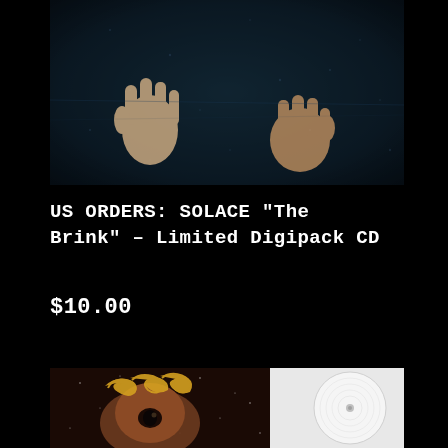[Figure (photo): Dark album artwork showing hands pressed against a surface or window, with a dark blue/teal atmospheric background. Moody, dim lighting with a gritty texture.]
US ORDERS: SOLACE "The Brink" – Limited Digipack CD
$10.00
[Figure (photo): Product photo showing a vinyl record with white/clear disc next to illustrated album artwork featuring a face with ornate decorative text/logo against a starry night background, displayed in a white sleeve/cover.]